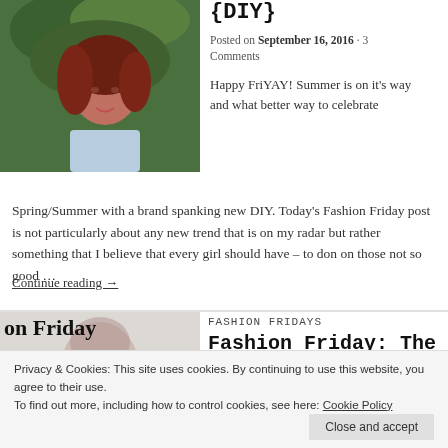[Figure (photo): Photo of a woman with curly auburn hair wearing a light blue shirt, with green foliage in background]
{DIY}
Posted on September 16, 2016 · 3 Comments
Happy FriYAY! Summer is on it's way and what better way to celebrate Spring/Summer with a brand spanking new DIY. Today's Fashion Friday post is not particularly about any new trend that is on my radar but rather something that I believe that every girl should have – to don on those not so good …
Continue reading →
[Figure (photo): Partially visible blog post image showing a sleeveless jacket fashion post]
on Friday
The Sleeveless Jacket
FASHION FRIDAYS
Fashion Friday: The
Privacy & Cookies: This site uses cookies. By continuing to use this website, you agree to their use. To find out more, including how to control cookies, see here: Cookie Policy
Close and accept